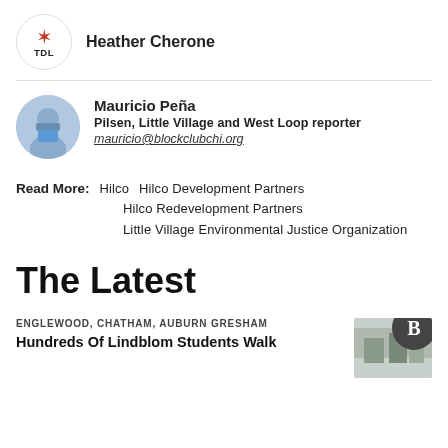[Figure (logo): TDL logo circle with red star]
Heather Cherone
[Figure (photo): Circular headshot photo of Mauricio Peña]
Mauricio Peña
Pilsen, Little Village and West Loop reporter
mauricio@blockclubchi.org
Read More:   Hilco   Hilco Development Partners   Hilco Redevelopment Partners   Little Village Environmental Justice Organization
The Latest
ENGLEWOOD, CHATHAM, AUBURN GRESHAM
Hundreds Of Lindblom Students Walk